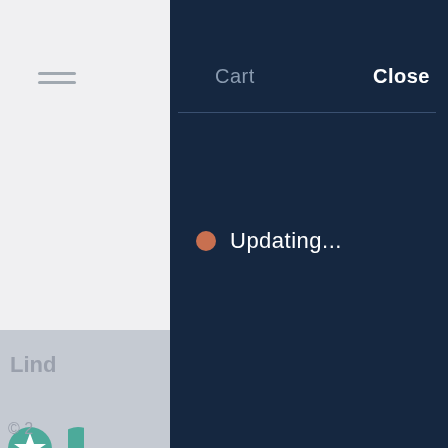[Figure (screenshot): Web application UI screenshot showing a cart panel overlay on a dark navy background. Left side shows a partially visible sidebar with a hamburger menu icon, star rating icons, and partial text 'Lind...' and '4.91 st'. The right dark panel shows 'Cart' header, 'Close' button, a horizontal divider, and an 'Updating...' status with an orange-brown dot indicator. Bottom of sidebar transitions to a darker gray area with partial '© 2' copyright text.]